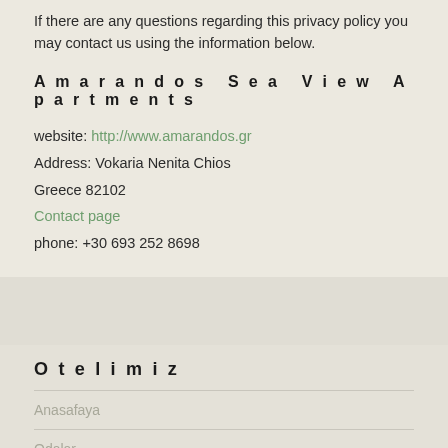If there are any questions regarding this privacy policy you may contact us using the information below.
Amarandos Sea View Apartments
website: http://www.amarandos.gr
Address: Vokaria Nenita Chios
Greece 82102
Contact page
phone: +30 693 252 8698
Otelimiz
Anasafaya
Odalar